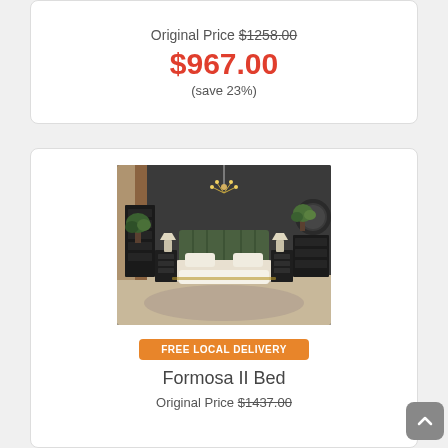Original Price $1258.00
$967.00
(save 23%)
[Figure (photo): Bedroom furniture set featuring a green upholstered bed, dark wood dresser and nightstands, a chandelier, and decorative plants against dark gray walls]
FREE LOCAL DELIVERY
Formosa II Bed
Original Price $1437.00